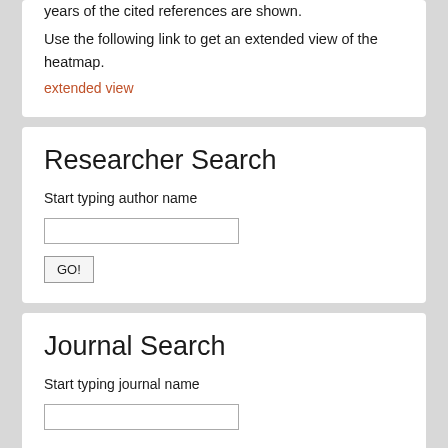years of the cited references are shown.
Use the following link to get an extended view of the heatmap.
extended view
Researcher Search
Start typing author name
Journal Search
Start typing journal name